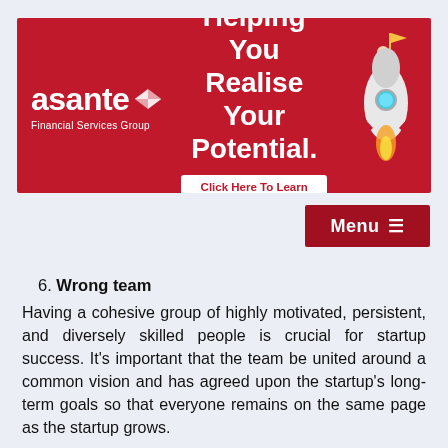[Figure (other): Asante Financial Services Group banner advertisement with red background, company logo with bowtie icon, headline 'Helping You Realise Your Potential.', 'Click Here To Learn More' button, and rocket ship illustration]
Menu ≡
6. Wrong team
Having a cohesive group of highly motivated, persistent, and diversely skilled people is crucial for startup success. It's important that the team be united around a common vision and has agreed upon the startup's long-term goals so that everyone remains on the same page as the startup grows.
7. Too much competition
When you build a better product than existing offerings, it's likely that large companies or new